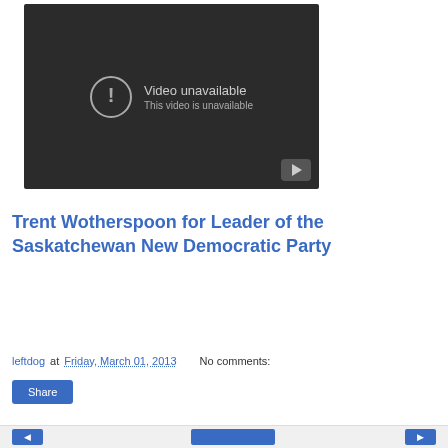[Figure (screenshot): YouTube video embed showing 'Video unavailable - This video is unavailable' message on dark background with YouTube play button icon in bottom right]
Trent Wotherspoon for Leader of the Saskatchewan New Democratic Party
leftdog at Friday, March 01, 2013   No comments:
Share